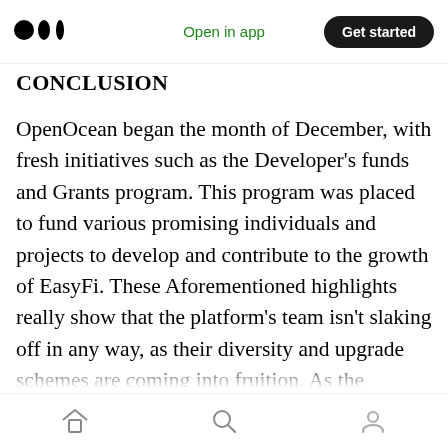Open in app | Get started
CONCLUSION
OpenOcean began the month of December, with fresh initiatives such as the Developer's funds and Grants program. This program was placed to fund various promising individuals and projects to develop and contribute to the growth of EasyFi. These Aforementioned highlights really show that the platform's team isn't slaking off in any way, as their diversity and upgrade schemes are coming into fruition. As the platform continues to grow through the success of their
Home | Search | Profile